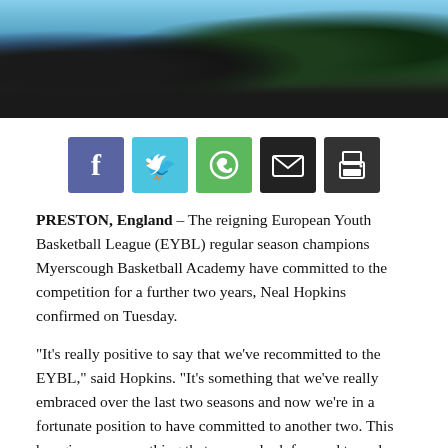[Figure (photo): Basketball players in green jerseys (one with number 4) seen from behind, sitting courtside]
[Figure (infographic): Social sharing buttons: Facebook (blue), Twitter (light blue), WhatsApp (green), Email (dark/black), Print (black)]
PRESTON, England – The reigning European Youth Basketball League (EYBL) regular season champions Myerscough Basketball Academy have committed to the competition for a further two years, Neal Hopkins confirmed on Tuesday.
“It’s really positive to say that we’ve recommitted to the EYBL,” said Hopkins. “It’s something that we’ve really embraced over the last two seasons and now we’re in a fortunate position to have committed to another two. This has given us something that we can look forward to and hopefully it’s some good news